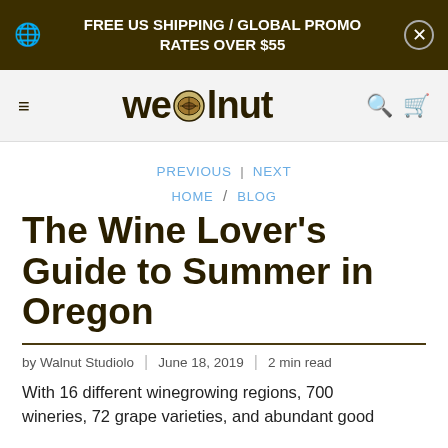FREE US SHIPPING / GLOBAL PROMO RATES OVER $55
[Figure (logo): Walnut Studiolo website logo with stylized walnut icon in text]
PREVIOUS | NEXT
HOME / BLOG
The Wine Lover's Guide to Summer in Oregon
by Walnut Studiolo | June 18, 2019 | 2 min read
With 16 different winegrowing regions, 700 wineries, 72 grape varieties, and abundant good